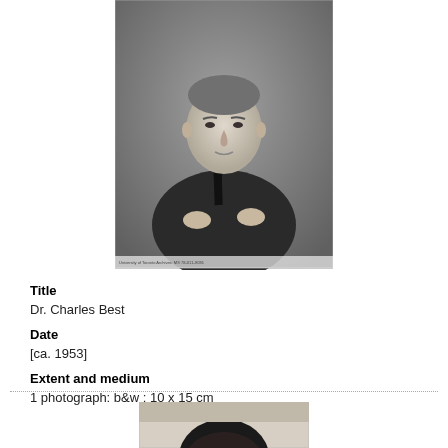[Figure (photo): Black and white portrait photograph of Dr. Charles Best, a middle-aged man in a dark suit with arms crossed, seated, looking at camera. Small caption text at bottom of photo frame.]
Title
Dr. Charles Best
Date
[ca. 1953]
Extent and medium
1 photograph: b&w ; 10 x 15 cm
[Figure (photo): Partial view of a second black and white photograph showing top of a person's head with dark hair, cropped at bottom of page.]